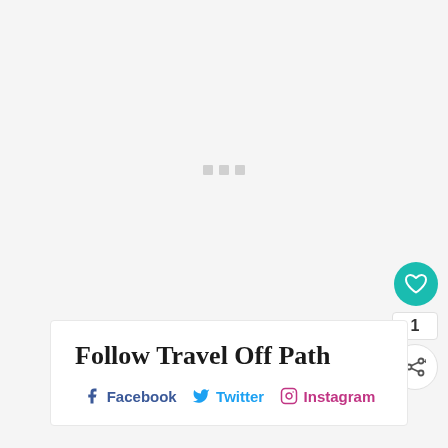[Figure (other): Loading placeholder with three small grey squares in the center of a light grey background area]
Follow Travel Off Path
Facebook   Twitter   Instagram